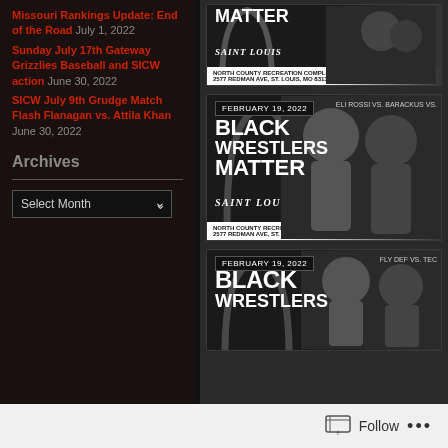Missouri Rankings Update: End of the Road July 1, 2022
Sunday July 17th Gateway Grizzlies Baseball and SICW action June 30, 2022
SICW July 9th Grudge Match Flash Flanagan vs. Attila Khan June 30, 2022
Archives
[Figure (photo): Black Wrestlers Matter event poster for February 19 2022, Saint Louis, North County Recreation Complex, featuring wrestlers silhouette]
[Figure (photo): Black Wrestlers Matter event poster for February 19 2022, Saint Louis, second instance with matchup Eli Rossi vs. Barackus]
[Figure (photo): Black Wrestlers Matter event poster for February 19 2022, Saint Louis, third instance with matchup Fly Def vs. Tec]
Follow ...